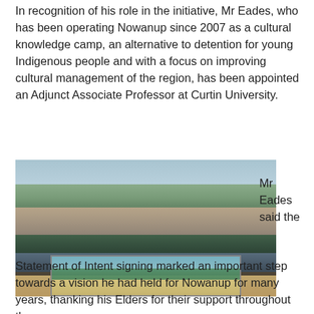In recognition of his role in the initiative, Mr Eades, who has been operating Nowanup since 2007 as a cultural knowledge camp, an alternative to detention for young Indigenous people and with a focus on improving cultural management of the region, has been appointed an Adjunct Associate Professor at Curtin University.
[Figure (photo): Group photo of approximately seven people standing outdoors in a rural/bushland setting, holding a landscape painting depicting a river or lake scene with native vegetation.]
Mr Eades said the
Statement of Intent signing marked an important step towards a vision he had held for Nowanup for many years, thanking his Elders for their support throughout the